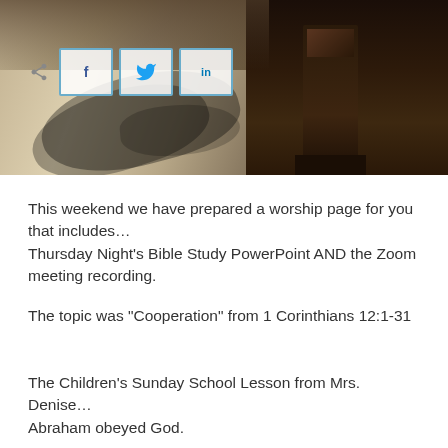[Figure (photo): Outdoor church setting with a wooden pulpit/lectern in the center, chairs visible in the background, dappled light and shadows on a stone/concrete ground. Social share buttons (Facebook, Twitter, LinkedIn) overlaid in the upper left.]
This weekend we have prepared a worship page for you that includes…
Thursday Night's Bible Study PowerPoint AND the Zoom meeting recording.
The topic was "Cooperation" from 1 Corinthians 12:1-31
The Children's Sunday School Lesson from Mrs. Denise…
Abraham obeyed God.